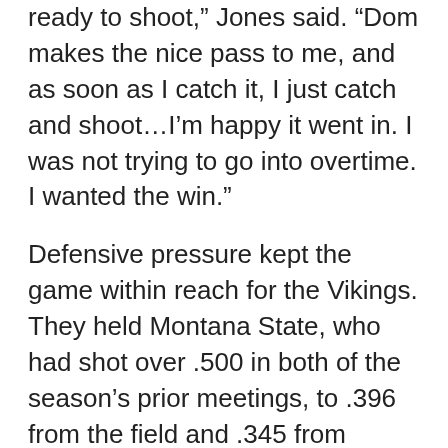ready to shoot," Jones said. "Dom makes the nice pass to me, and as soon as I catch it, I just catch and shoot…I'm happy it went in. I was not trying to go into overtime. I wanted the win."
Defensive pressure kept the game within reach for the Vikings. They held Montana State, who had shot over .500 in both of the season's prior meetings, to .396 from the field and .345 from beyond the arc. The Vikings shot just .468 on the night and .421 from downtown, but scored 17 points off Montana State turnovers.
Thomas led all scorers with 19 points to tie a career high, and also grabbed six boards. Jones scored 17, including the game-winner, and